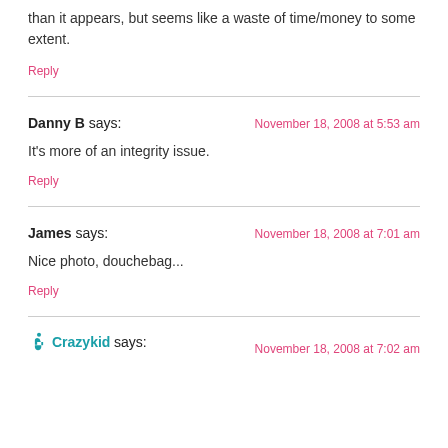than it appears, but seems like a waste of time/money to some extent.
Reply
Danny B says:  November 18, 2008 at 5:53 am
It's more of an integrity issue.
Reply
James says:  November 18, 2008 at 7:01 am
Nice photo, douchebag...
Reply
Crazykid says:  November 18, 2008 at 7:02 am